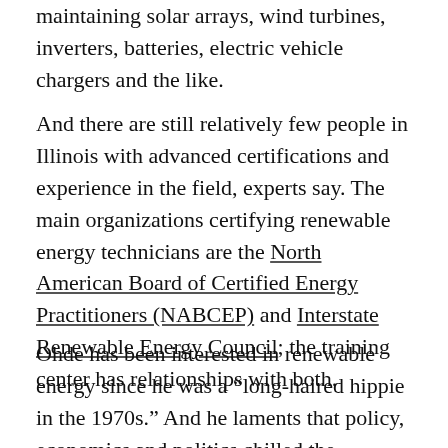maintaining solar arrays, wind turbines, inverters, batteries, electric vehicle chargers and the like.
And there are still relatively few people in Illinois with advanced certifications and experience in the field, experts say. The main organizations certifying renewable energy technicians are the North American Board of Certified Energy Practitioners (NABCEP) and Interstate Renewable Energy Council; the training center has relationships with both.
Ohde has been interested in renewable energy since he was a “long-haired hippie in the 1970s.” And he laments that policy, economics and politics chilled the potential that clean energy held even